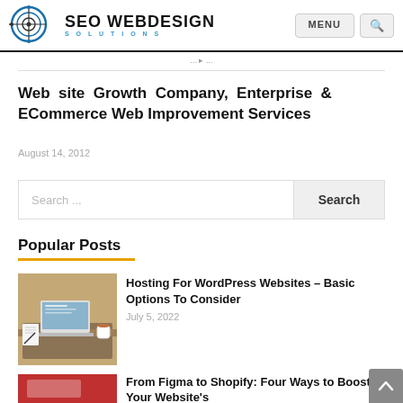SEO WEBDESIGN SOLUTIONS | MENU | Search
Web site Growth Company, Enterprise & ECommerce Web Improvement Services
August 14, 2012
Search ...
Popular Posts
Hosting For WordPress Websites – Basic Options To Consider
July 5, 2022
[Figure (photo): Laptop on a desk with notebook and coffee]
From Figma to Shopify: Four Ways to Boost Your Website's